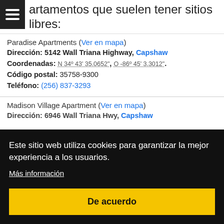Apartamentos que suelen tener sitios libres:
Paradise Apartments (Ver en mapa)
Dirección: 5142 Wall Triana Highway, Capshaw
Coordenadas: N 34º 43' 35.0652", O -86º 45' 3.3012".
Código postal: 35758-9300
Teléfono: (256) 837-3293
Madison Village Apartment (Ver en mapa)
Dirección: 6946 Wall Triana Hwy, Capshaw
Este sitio web utiliza cookies para garantizar la mejor experiencia a los usuarios. Más información
De acuerdo
Madison Pines (Ver en mapa)